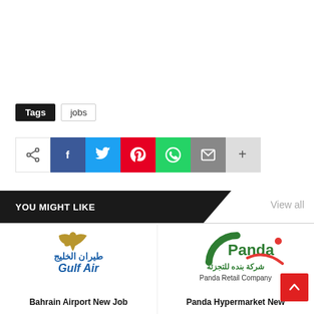Tags  jobs
[Figure (infographic): Social share buttons row: share icon, Facebook, Twitter, Pinterest, WhatsApp, Email, plus]
YOU MIGHT LIKE
View all
[Figure (logo): Gulf Air logo with Arabic text and eagle]
Bahrain Airport New Job
[Figure (logo): Panda Retail Company logo in green and red]
Panda Hypermarket New